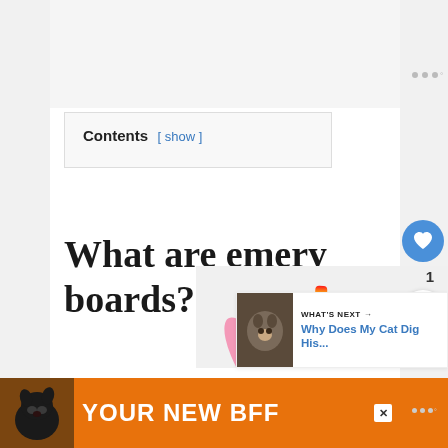Contents [ show ]
What are emery boards?
[Figure (photo): Colorful emery boards/nail files fanned out]
[Figure (infographic): What's Next promo: Why Does My Cat Dig His... with cat thumbnail]
[Figure (other): Advertisement bar: YOUR NEW BFF with black dog image on orange background]